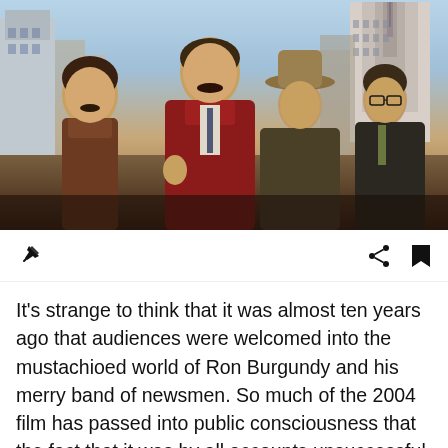[Figure (photo): Movie promotional photo showing four men in 1970s-style clothing standing in front of a city skyline with skyscrapers. The central figure wears a red suit. Others wear a brown leather jacket, a cowboy hat, and a dark suit with glasses.]
It's strange to think that it was almost ten years ago that audiences were welcomed into the mustachioed world of Ron Burgundy and his merry band of newsmen. So much of the 2004 film has passed into public consciousness that the fact that it was by all accounts unsuccessful no longer matters. It has grown on the shelf and in the hearts of audiences everywhere,